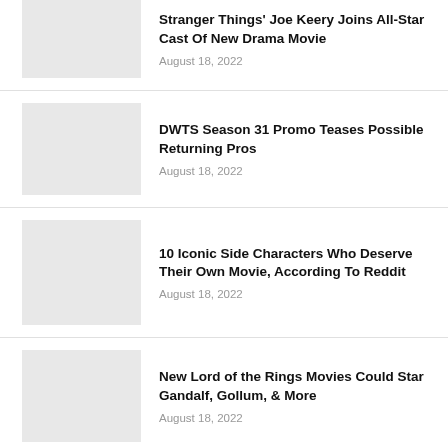Stranger Things' Joe Keery Joins All-Star Cast Of New Drama Movie
August 18, 2022
DWTS Season 31 Promo Teases Possible Returning Pros
August 18, 2022
10 Iconic Side Characters Who Deserve Their Own Movie, According To Reddit
August 18, 2022
New Lord of the Rings Movies Could Star Gandalf, Gollum, & More
August 18, 2022
Every Ryan Gosling And Emma Stone